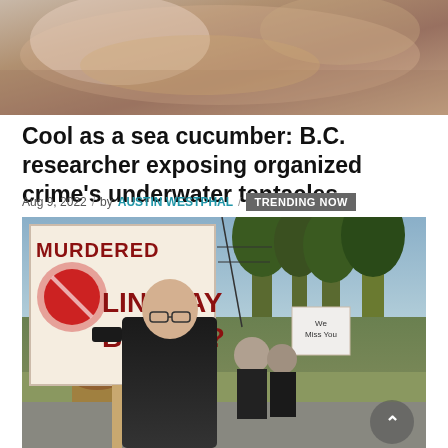[Figure (photo): Close-up photo of hands, appears to be someone holding something, reddish/brown tones]
Cool as a sea cucumber: B.C. researcher exposing organized crime's underwater tentacles
Aug 9, 2022 / by AUSTIN WESTPHAL / TRENDING NOW
[Figure (photo): Outdoor protest photo showing a man holding a sign reading 'MURDERED LINDSAY BUZIAK?' with another smaller sign saying 'We Miss You' visible in background. Trees and street visible in background.]